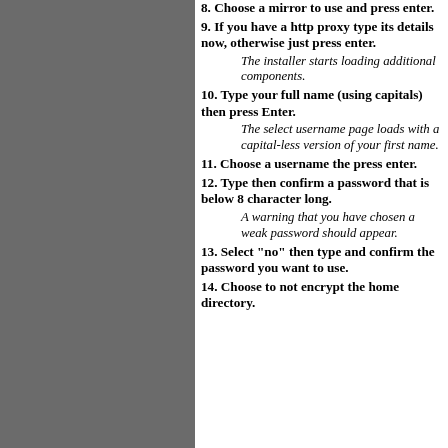8. Choose a mirror to use and press enter.
9. If you have a http proxy type its details now, otherwise just press enter.
The installer starts loading additional components.
10. Type your full name (using capitals) then press Enter.
The select username page loads with a capital-less version of your first name.
11. Choose a username the press enter.
12. Type then confirm a password that is below 8 character long.
A warning that you have chosen a weak password should appear.
13. Select "no" then type and confirm the password you want to use.
14. Choose to not encrypt the home directory.